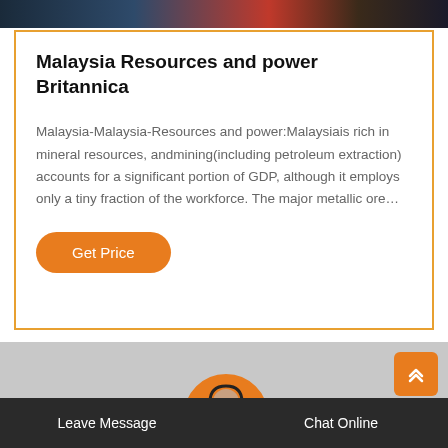[Figure (photo): Top banner image strip showing industrial/mining scene]
Malaysia Resources and power Britannica
Malaysia-Malaysia-Resources and power:Malaysiais rich in mineral resources, andmining(including petroleum extraction) accounts for a significant portion of GDP, although it employs only a tiny fraction of the workforce. The major metallic ore…
Get Price
[Figure (photo): Gray section with customer service representative avatar and orange scroll-to-top button]
Leave Message   Chat Online